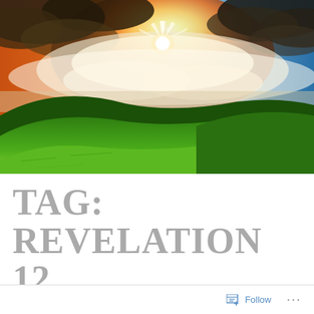[Figure (photo): Dramatic landscape photo showing rolling green hills in the foreground and a spectacular sky with clouds and a brilliant sun burst breaking through, with orange and golden tones mixed with blue sky.]
TAG: REVELATION 12
Follow ...